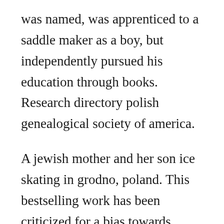was named, was apprenticed to a saddle maker as a boy, but independently pursued his education through books. Research directory polish genealogical society of america.
A jewish mother and her son ice skating in grodno, poland. This bestselling work has been criticized for a bias towards poland, but this corrects merely a deficiency. For comments or questions related specifically to website technical issues, email. Polrail service rail ticket booking for poland and all of europe. Bialygen cemeteries grodno